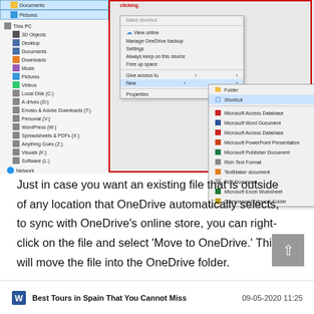[Figure (screenshot): Windows File Explorer screenshot showing left navigation panel with folders (This PC, 3D Objects, Desktop, Documents, Downloads, Music, Pictures, Videos, Local Disk C, drives) and a right-click context menu open with 'New' submenu expanded showing options: Folder, Shortcut, Microsoft Access Database, Microsoft Word Document, Microsoft Access Database, Microsoft PowerPoint Presentation, Microsoft Publisher Document, Rich Text Format, TextMaker document, Text Document, Microsoft Excel Worksheet, Compressed (zipped) Folder. The screenshot is surrounded by a red border.]
Just in case you want an existing file that is outside of any location that OneDrive automatically selects, to sync with OneDrive’s online store, you can right-click on the file and select ‘Move to OneDrive.’ This will move the file into the OneDrive folder.
Best Tours in Spain That You Cannot Miss   09-05-2020 11:25